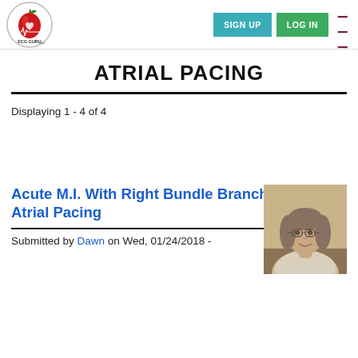ECG GURU — SIGN UP | LOG IN
ATRIAL PACING
Displaying 1 - 4 of 4
[Figure (photo): Photo of a woman with glasses and shoulder-length gray-brown hair, wearing a light-colored top, seated indoors.]
Acute M.I. With Right Bundle Branch Block and Atrial Pacing
Submitted by Dawn on Wed, 01/24/2018 -